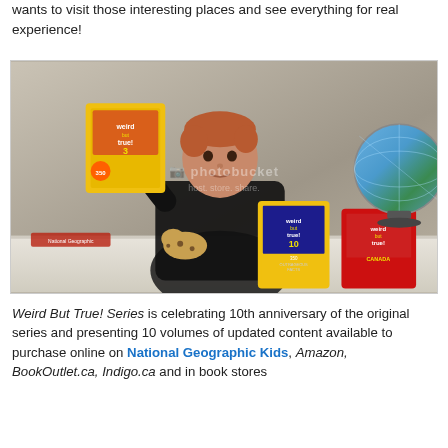wants to visit those interesting places and see everything for real experience!
[Figure (photo): A young red-haired boy holding up a National Geographic 'Weird But True! 3' book with a yellow cover, sitting at a table with other Weird But True books and a globe visible, photobucket watermark overlay]
Weird But True! Series is celebrating 10th anniversary of the original series and presenting 10 volumes of updated content available to purchase online on National Geographic Kids, Amazon, BookOutlet.ca, Indigo.ca and in book stores